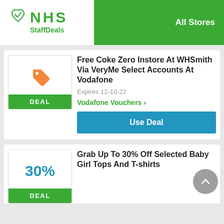NHS StaffDeals — All Stores
[Figure (logo): NHS StaffDeals logo with green heart/checkmark icon and text]
All Stores
[Figure (illustration): Orange price tag icon]
DEAL
Free Coke Zero Instore At WHSmith Via VeryMe Select Accounts At Vodafone
Expires 12-10-22
Vodafone Vouchers >
Use Deal
[Figure (illustration): 30% discount indicator in blue text]
DEAL
Grab Up To 30% Off Selected Baby Girl Tops And T-shirts